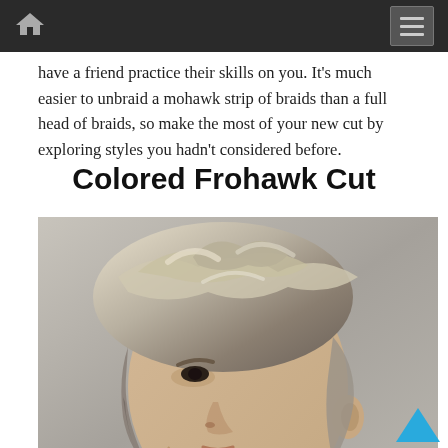Navigation bar with home icon and menu button
have a friend practice their skills on you. It’s much easier to unbraid a mohawk strip of braids than a full head of braids, so make the most of your new cut by exploring styles you hadn’t considered before.
Colored Frohawk Cut
[Figure (photo): Side profile of a young man with a colored frohawk hairstyle, showing curly/wavy hair on top styled upward and short tapered sides, with blonde/ash highlights throughout.]